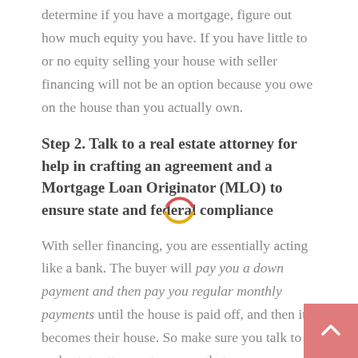determine if you have a mortgage, figure out how much equity you have. If you have little to or no equity selling your house with seller financing will not be an option because you owe on the house than you actually own.
Step 2. Talk to a real estate attorney for help in crafting an agreement and a Mortgage Loan Originator (MLO) to ensure state and federal compliance
With seller financing, you are essentially acting like a bank. The buyer will pay you a down payment and then pay you regular monthly payments until the house is paid off, and then it becomes their house. So make sure you talk to a real estate attorney to ensure that you are protected and obeying all federal, local, and state laws while also protecting yourself! (If you need the name of a good real estate attorney, get in touch with us and we can make an introduction.) A mortgage loan originator